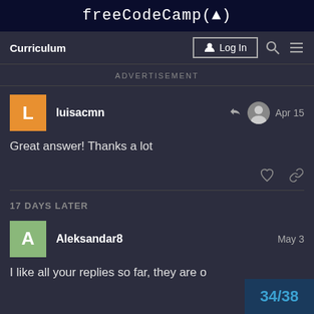freeCodeCamp(🔥)
Curriculum  Log In
ADVERTISEMENT
luisacmn  Apr 15
Great answer! Thanks a lot
17 DAYS LATER
Aleksandar8  May 3
I like all your replies so far, they are o
34/38